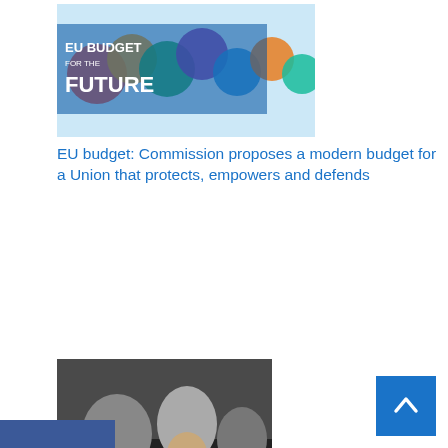[Figure (photo): EU Budget for the Future banner with colorful balloons]
EU budget: Commission proposes a modern budget for a Union that protects, empowers and defends
[Figure (photo): People shaking hands or meeting, related to EU pensions article]
Pensions in the EU: report recognises efforts Member States to ensure adequate pensions, but more needs to be done
[Figure (photo): Partial photo with text overlay 'ng trust ngle Mark' showing a person at podium with EU flag]
[Figure (other): Social media sharing sidebar with Facebook, Twitter, Google+, Buffer, Pinterest icons]
[Figure (other): Back to top arrow button in blue]